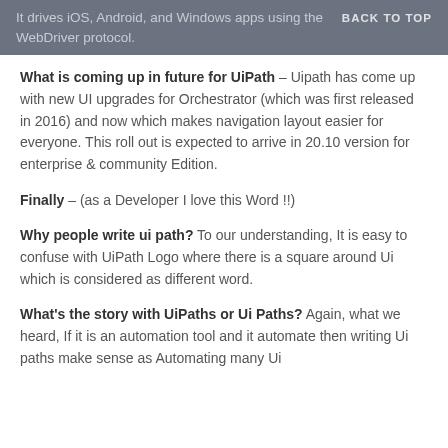It drives iOS, Android, and Windows apps using the WebDriver protocol.  BACK TO TOP
What is coming up in future for UiPath – Uipath has come up with new UI upgrades for Orchestrator (which was first released in 2016) and now which makes navigation layout easier for everyone. This roll out is expected to arrive in 20.10 version for enterprise & community Edition.
Finally – (as a Developer I love this Word !!)
Why people write ui path? To our understanding, It is easy to confuse with UiPath Logo where there is a square around Ui which is considered as different word.
What's the story with UiPaths or Ui Paths? Again, what we heard, If it is an automation tool and it automate then writing Ui paths make sense as Automating many Ui